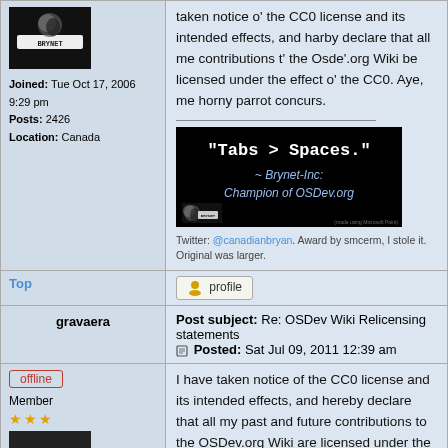taken notice o' the CC0 license and its intended effects, and harby declare that all me contributions t' the Osde'.org Wiki be licensed under the effect o' the CC0. Aye, me horny parrot concurs.
[Figure (illustration): Black banner image: '"Tabs > Spaces."' ~ Brynet-Inc: Champion of OSDev.org, with moon logo and 'made using Microsoft Paint' note]
Twitter: @canadianbryan. Award by smcerm, I stole it. Original was larger.
Top
profile
gravaera
Post subject: Re: OSDev Wiki Relicensing statements
Posted: Sat Jul 09, 2011 12:39 am
offline
Member
I have taken notice of the CC0 license and its intended effects, and hereby declare that all my past and future contributions to the OSDev.org Wiki are licensed under the effect of the